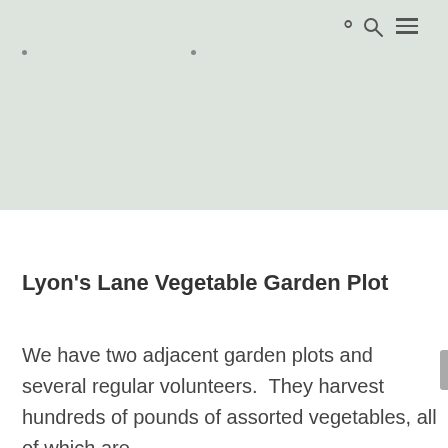[Figure (screenshot): Gray-green header area with navigation icons (search magnifying glass and hamburger menu) in the top right, and two small dots below on a muted sage green background.]
Lyon's Lane Vegetable Garden Plot
We have two adjacent garden plots and several regular volunteers.  They harvest hundreds of pounds of assorted vegetables, all of which are